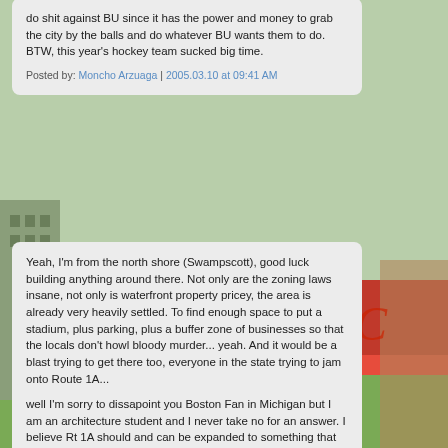do shit against BU since it has the power and money to grab the city by the balls and do whatever BU wants them to do. BTW, this year's hockey team sucked big time.
Posted by: Moncho Arzuaga | 2005.03.10 at 09:41 AM
Yeah, I'm from the north shore (Swampscott), good luck building anything around there. Not only are the zoning laws insane, not only is waterfront property pricey, the area is already very heavily settled. To find enough space to put a stadium, plus parking, plus a buffer zone of businesses so that the locals don't howl bloody murder... yeah. And it would be a blast trying to get there too, everyone in the state trying to jam onto Route 1A...
Posted by: Boston Fan in Michigan | 2005.03.10 at 12:39 PM
well I'm sorry to dissapoint you Boston Fan in Michigan but I am an architecture student and I never take no for an answer. I believe Rt 1A should and can be expanded to something that can accomodate the thousands of cars that can go to the new stadium and besides there are train stations in Lynn, Swampscott...